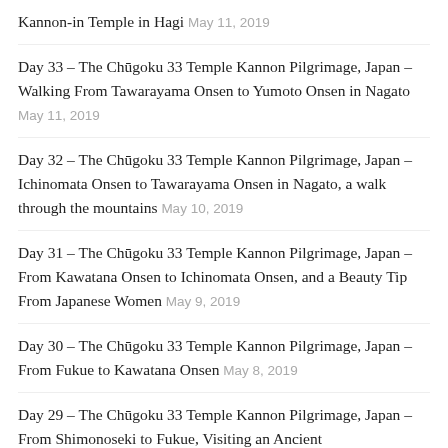Kannon-in Temple in Hagi May 11, 2019
Day 33 – The Chūgoku 33 Temple Kannon Pilgrimage, Japan – Walking From Tawarayama Onsen to Yumoto Onsen in Nagato May 11, 2019
Day 32 – The Chūgoku 33 Temple Kannon Pilgrimage, Japan – Ichinomata Onsen to Tawarayama Onsen in Nagato, a walk through the mountains May 10, 2019
Day 31 – The Chūgoku 33 Temple Kannon Pilgrimage, Japan – From Kawatana Onsen to Ichinomata Onsen, and a Beauty Tip From Japanese Women May 9, 2019
Day 30 – The Chūgoku 33 Temple Kannon Pilgrimage, Japan – From Fukue to Kawatana Onsen May 8, 2019
Day 29 – The Chūgoku 33 Temple Kannon Pilgrimage, Japan – From Shimonoseki to Fukue, Visiting an Ancient Ufo ttodo le Mound and The nintitted Temple